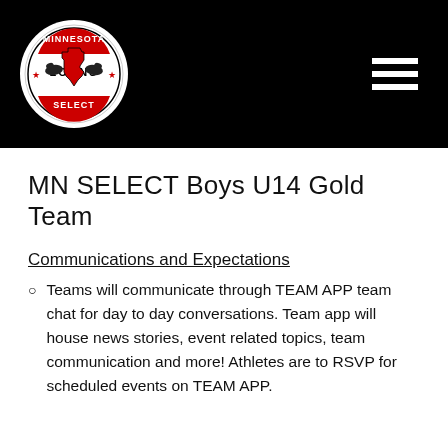[Figure (logo): Minnesota Loons Select sports club logo — circular badge with two loon figures flanking a Minnesota state outline, stars on sides, 'MINNESOTA' at top, 'LOONS' in middle, 'SELECT' at bottom. Black and white with red accents.]
MN SELECT Boys U14 Gold Team
Communications and Expectations
Teams will communicate through TEAM APP team chat for day to day conversations. Team app will house news stories, event related topics, team communication and more! Athletes are to RSVP for scheduled events on TEAM APP.